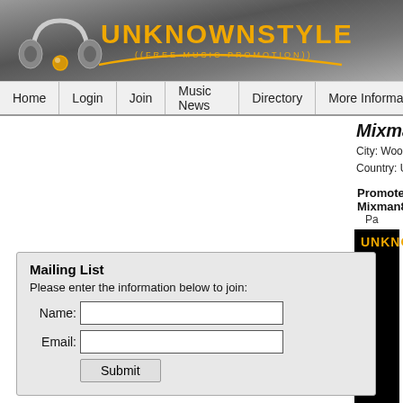[Figure (logo): UnknownStyle Free Music Promotion logo with headphones graphic on dark metallic background]
Home | Login | Join | Music News | Directory | More Information
Mixman86
City: Woodbridge
Country: United States
Promote Mixman86's Page
Pa...
UNKNOWN
Mailing List
Please enter the information below to join:
Name:
Email:
Submit